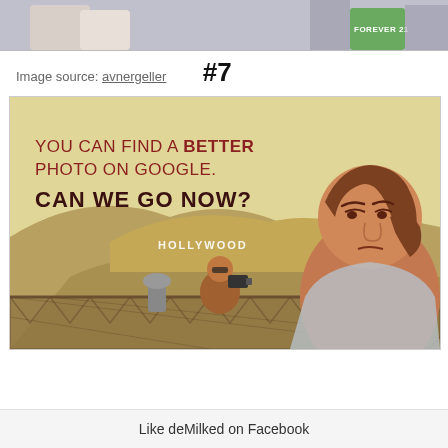[Figure (illustration): Top cropped image showing a person with a Forever 21 bag, partial illustration]
Image source: avnergeller
#7
[Figure (illustration): Cartoon illustration of a bored-looking woman at the Hollywood sign viewpoint. Text reads: 'YOU CAN FIND A BETTER PHOTO ON GOOGLE. CAN WE GO NOW?' A man photographs the Hollywood sign in the background.]
Like deMilked on Facebook